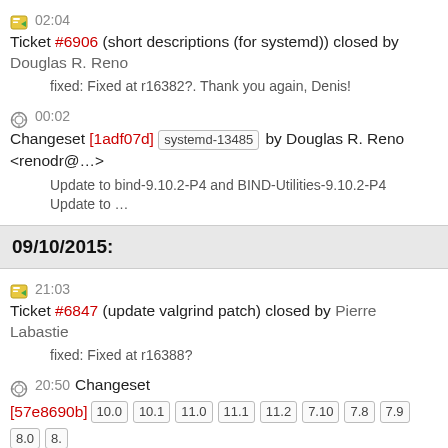02:04 Ticket #6906 (short descriptions (for systemd)) closed by Douglas R. Reno
fixed: Fixed at r16382?. Thank you again, Denis!
00:02 Changeset [1adf07d] systemd-13485 by Douglas R. Reno <renodr@…>
Update to bind-9.10.2-P4 and BIND-Utilities-9.10.2-P4 Update to …
09/10/2015:
21:03 Ticket #6847 (update valgrind patch) closed by Pierre Labastie
fixed: Fixed at r16388?
20:50 Changeset [57e8690b] 10.0 10.1 11.0 11.1 11.2 7.10 7.8 7.9 8.0 8. modules qt5new trunk upgradedb xry111/intltool xry111/test-20220226 by Pierre Labastie <pieere@…>
Fix Valgrind configure script so that it builds with glibc-2.2x, x>0 …